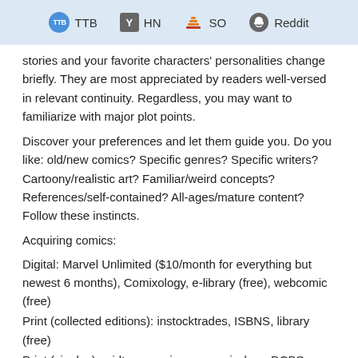TTB  HN  SO  Reddit
stories and your favorite characters' personalities change briefly. They are most appreciated by readers well-versed in relevant continuity. Regardless, you may want to familiarize with major plot points.
Discover your preferences and let them guide you. Do you like: old/new comics? Specific genres? Specific writers? Cartoony/realistic art? Familiar/weird concepts? References/self-contained? All-ages/mature content? Follow these instincts.
Acquiring comics:
Digital: Marvel Unlimited ($10/month for everything but newest 6 months), Comixology, e-library (free), webcomic (free)
Print (collected editions): instocktrades, ISBNS, library (free)
Print (singles): midtowncomics, mycomicshop, DCBS